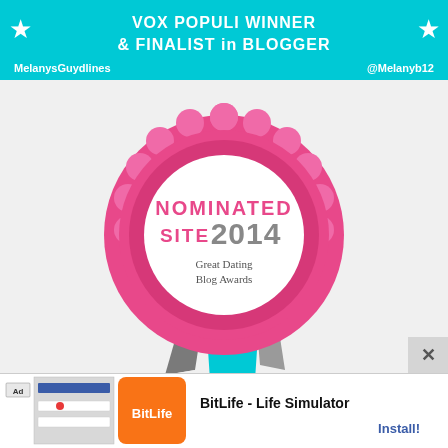[Figure (illustration): Cyan/teal banner at top with white stars on each side and bold white text reading VOX POPULI WINNER & FINALIST in BLOGGER, with handles MelanysGuydlines and @Melanyb12]
[Figure (illustration): Pink rosette award badge with ruffled edges, white center circle reading NOMINATED SITE 2014 Great Dating Blog Awards in pink, dark gray and black text, with teal and dark gray ribbon tails hanging below]
[Figure (illustration): Partial gold/bronze sunburst medal badge visible at the very bottom of the page]
[Figure (illustration): Advertisement bar at the bottom: BitLife - Life Simulator app ad with orange BitLife icon, app thumbnail showing UI preview, and Install! button in blue]